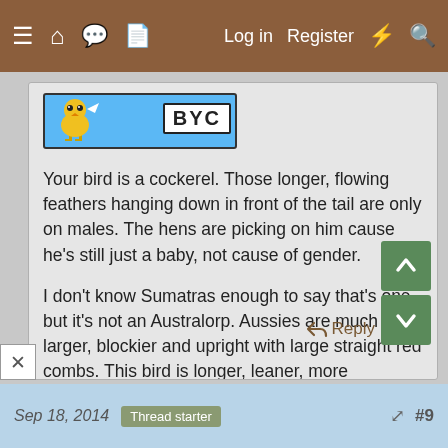≡ 🏠 💬 📄   Log in   Register  ⚡ 🔍
[Figure (logo): BYC (BackYard Chickens) pixel art logo with yellow chick and BYC text on blue background]
Your bird is a cockerel. Those longer, flowing feathers hanging down in front of the tail are only on males. The hens are picking on him cause he's still just a baby, not cause of gender.

I don't know Sumatras enough to say that's one, but it's not an Australorp. Aussies are much larger, blockier and upright with large straight red combs. This bird is longer, leaner, more streamlined looking, plus the dark skin and small comb.
Sep 18, 2014   Thread starter   #9